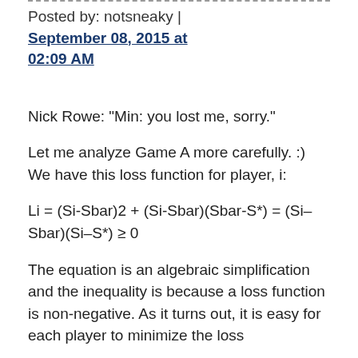Posted by: notsneaky | September 08, 2015 at 02:09 AM
Nick Rowe: "Min: you lost me, sorry."
Let me analyze Game A more carefully. :) We have this loss function for player, i:
The equation is an algebraic simplification and the inequality is because a loss function is non-negative. As it turns out, it is easy for each player to minimize the loss